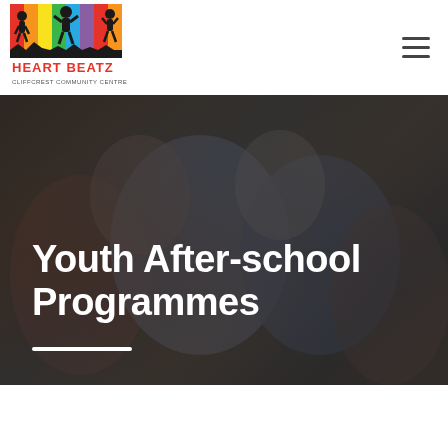[Figure (logo): Heart Beatz Cliffcrest Community Centre logo — colorful vertical stripes with silhouette children jumping, text HEART BEATZ in red/yellow below]
[Figure (photo): Background hero photo of smiling diverse youth/teenagers sitting together at a table, dark overlay applied]
Youth After-school Programmes